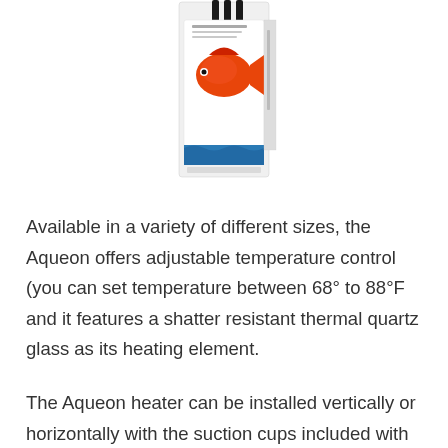[Figure (photo): Product packaging for an Aqueon aquarium heater, showing a black box with a red and white fish image, with black heater tubes visible at the top, displayed against a white background.]
Available in a variety of different sizes, the Aqueon offers adjustable temperature control (you can set temperature between 68° to 88°F and it features a shatter resistant thermal quartz glass as its heating element.
The Aqueon heater can be installed vertically or horizontally with the suction cups included with the